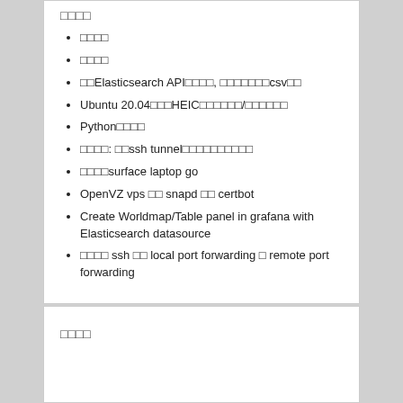□□□□
□□□□
□□□□
□□Elasticsearch API□□□□, □□□□□□□csv□□
Ubuntu 20.04□□□HEIC□□□□□□/□□□□□□
Python□□□□
□□□□: □□ssh tunnel□□□□□□□□□□
□□□□surface laptop go
OpenVZ vps □□ snapd □□ certbot
Create Worldmap/Table panel in grafana with Elasticsearch datasource
□□□□ ssh □□ local port forwarding □ remote port forwarding
□□□□